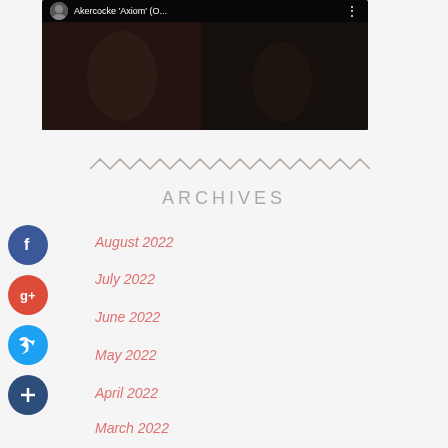[Figure (screenshot): YouTube video thumbnail for Akercocke 'Axiom' (O... with dark background and red play button]
[Figure (other): Zigzag/wavy decorative divider line in gray]
ARCHIVES
August 2022
July 2022
June 2022
May 2022
April 2022
March 2022